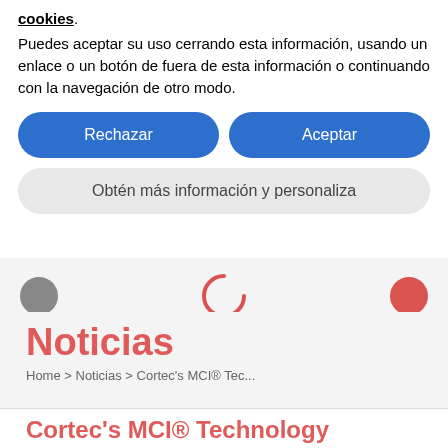cookies.
Puedes aceptar su uso cerrando esta información, usando un enlace o un botón de fuera de esta información o continuando con la navegación de otro modo.
[Figure (screenshot): Two blue rounded buttons labeled 'Rechazar' and 'Aceptar', and one gray rounded button labeled 'Obtén más información y personaliza']
[Figure (screenshot): Navigation icons: gray circle on left, salmon/red spinner arc in center, red circle on right, on light gray background]
Noticias
Home > Noticias > Cortec's MCI® Tec...
Cortec's MCI® Technology Was Chosen to Protect